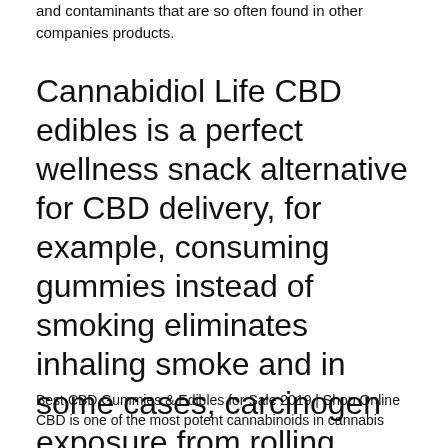and contaminants that are so often found in other companies products.
Cannabidiol Life CBD edibles is a perfect wellness snack alternative for CBD delivery, for example, consuming gummies instead of smoking eliminates inhaling smoke and in some cases, carcinogen exposure from rolling papers. Ingesting CBD edibles takes a little bit longer to kick in, but it also lasts longer as it passes through the entire
Best CBD Gummies & Edibles for Sale 2019 | Shop Online CBD is one of the most potent cannabinoids in cannabis